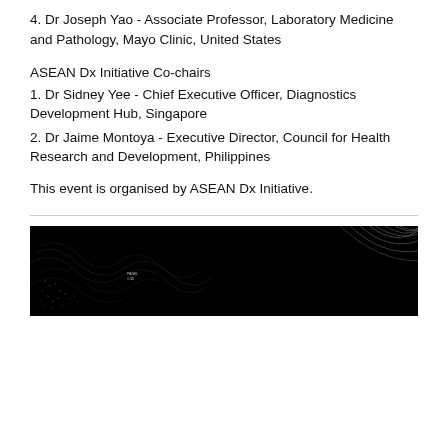4. Dr Joseph Yao - Associate Professor, Laboratory Medicine and Pathology, Mayo Clinic, United States
ASEAN Dx Initiative Co-chairs
1. Dr Sidney Yee - Chief Executive Officer, Diagnostics Development Hub, Singapore
2. Dr Jaime Montoya - Executive Director, Council for Health Research and Development, Philippines
This event is organised by ASEAN Dx Initiative.
[Figure (photo): Dark banner image with abstract wave/curve patterns in black, with small text partially visible near center-left reading what appears to be an event/logo label.]